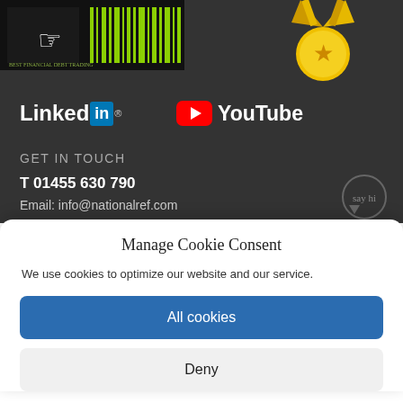[Figure (screenshot): Dark website footer background with thumbnail images at top (a dark video thumbnail with barcode/hand graphic on left, a gold award ribbon icon on right)]
[Figure (logo): LinkedIn logo in white text with blue 'in' square badge]
[Figure (logo): YouTube logo with red play button icon and white YouTube text]
GET IN TOUCH
T 01455 630 790
Email: info@nationalref.com
Manage Cookie Consent
We use cookies to optimize our website and our service.
All cookies
Deny